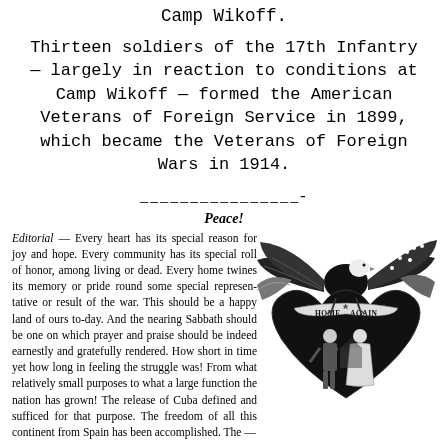Camp Wikoff.
Thirteen soldiers of the 17th Infantry — largely in reaction to conditions at Camp Wikoff — formed the American Veterans of Foreign Service in 1899, which became the Veterans of Foreign Wars in 1914.
Peace!
Editorial — Every heart has its special reason for joy and hope. Every community has its special roll of honor, among living or dead. Every home twines its memory or pride round some special representative or result of the war. This should be a happy land of ours to-day. And the nearing Sabbath should be one on which prayer and praise should be indeed earnestly and gratefully rendered. How short in time yet how long in feeling the struggle was! From what relatively small purposes to what a large function the nation has grown! The release of Cuba defined and sufficed for that purpose. The freedom of all this continent from Spain has been accomplished. The —
[Figure (illustration): Black and white illustration of an eagle with spread wings perched above a heart-shaped emblem reading 'HOME AGAIN', with an American flag motif and a soldier returning home to a woman, decorative patriotic imagery.]